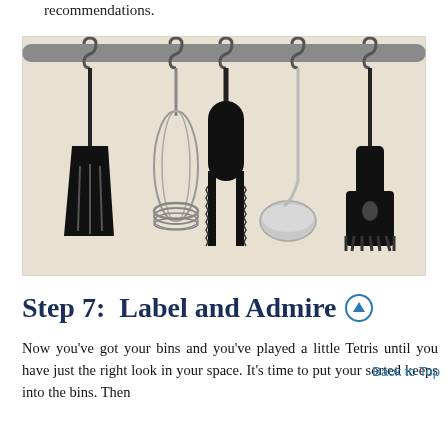recommendations.
[Figure (photo): Five kitchen utensils hanging from a metal rod on S-hooks against a cream/white wall: from left to right, a black spatula, a wire whisk/egg beater (coiled spring bottom), black tongs/carving fork with forked prongs, a silver ladle, and a black pasta fork/server.]
Step 7:  Label and Admire
Now you've got your bins and you've played a little Tetris until you have just the right look in your space. It's time to put your sorted keeps into the bins. Then